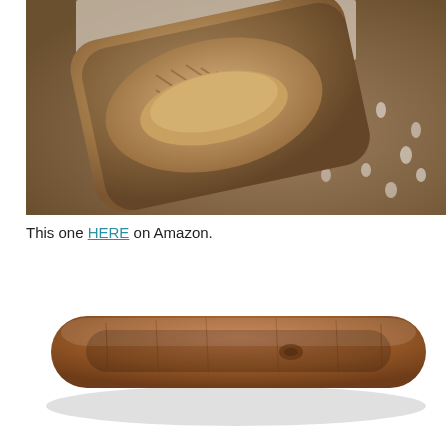[Figure (photo): Close-up photo of a rustic wooden dough bowl with a carved interior, placed on a spotted animal hide background. The bowl is rectangular with rounded corners and shows heavy patina and chop marks inside.]
This one HERE on Amazon.
[Figure (photo): Photo of a long, narrow wooden dough boat or bread trough on a white background. The piece is elongated with rounded ends, reddish-brown wood with visible grain and knots.]